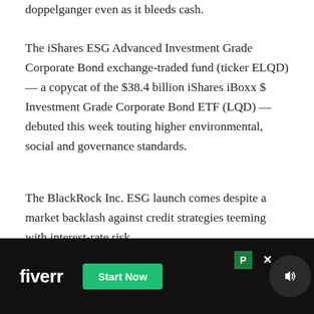doppelganger even as it bleeds cash.
The iShares ESG Advanced Investment Grade Corporate Bond exchange-traded fund (ticker ELQD) — a copycat of the $38.4 billion iShares iBoxx $ Investment Grade Corporate Bond ETF (LQD) — debuted this week touting higher environmental, social and governance standards.
The BlackRock Inc. ESG launch comes despite a market backlash against credit strategies teeming with interest-rate risk....
The arrival of ESG versions of these currently u…l prod… cons…
[Figure (screenshot): Fiverr advertisement overlay at the bottom of the page with black background, white 'fiverr' logo text, green 'Start Now' button, a green 'P' icon, an 'x' close button, and a circular speaker/audio icon on the right.]